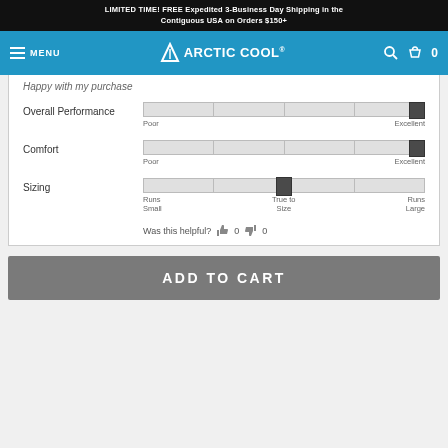LIMITED TIME! FREE Expedited 3-Business Day Shipping in the Contiguous USA on Orders $150+
[Figure (logo): Arctic Cool brand logo with navigation bar showing hamburger menu, MENU text, Arctic Cool logo with arrow, search icon, cart icon and 0 count]
Happy with my purchase
Overall Performance — slider from Poor to Excellent, set near Excellent
Comfort — slider from Poor to Excellent, set near Excellent
Sizing — slider from Runs Small to True to Size to Runs Large, set at True to Size
Was this helpful? 👍 0 👎 0
ADD TO CART